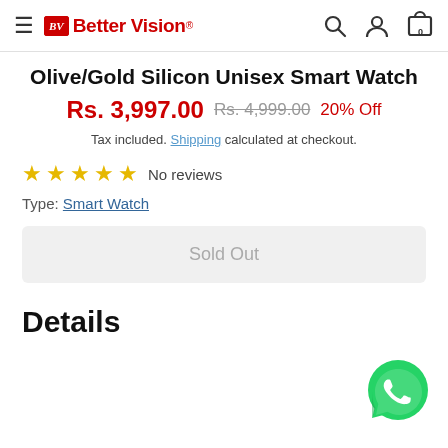Better Vision® — navigation header with hamburger menu, search, account, and cart icons
Olive/Gold Silicon Unisex Smart Watch
Rs. 3,997.00  Rs. 4,999.00  20% Off
Tax included. Shipping calculated at checkout.
★★★★★ No reviews
Type: Smart Watch
Sold Out
Details